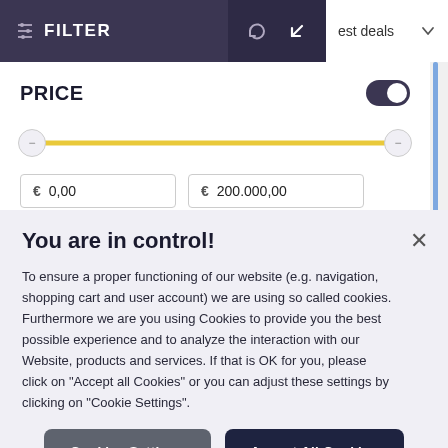FILTER
PRICE
[Figure (screenshot): Price range slider showing a yellow track from 0 to 200,000 euros with two circular handles at each end]
You are in control!
To ensure a proper functioning of our website (e.g. navigation, shopping cart and user account) we are using so called cookies. Furthermore we are you using Cookies to provide you the best possible experience and to analyze the interaction with our Website, products and services. If that is OK for you, please click on "Accept all Cookies" or you can adjust these settings by clicking on "Cookie Settings".
Cookies Settings
Accept All Cookies